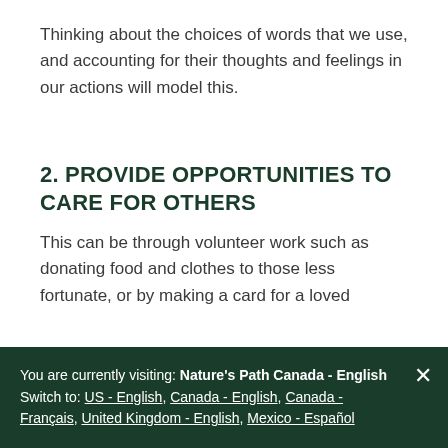Thinking about the choices of words that we use, and accounting for their thoughts and feelings in our actions will model this.
2. PROVIDE OPPORTUNITIES TO CARE FOR OTHERS
This can be through volunteer work such as donating food and clothes to those less fortunate, or by making a card for a loved one. Create opportunities for your child t...
You are currently visiting: Nature's Path Canada - English
Switch to: US - English, Canada - English, Canada - Français, United Kingdom - English, Mexico - Español